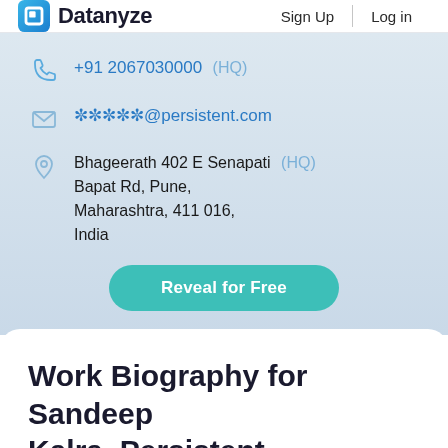Datanyze   Sign Up   Log in
+91 2067030000 (HQ)
*****@persistent.com
Bhageerath 402 E Senapati (HQ) Bapat Rd, Pune, Maharashtra, 411 016, India
Reveal for Free
Work Biography for Sandeep Kalra, Persistent